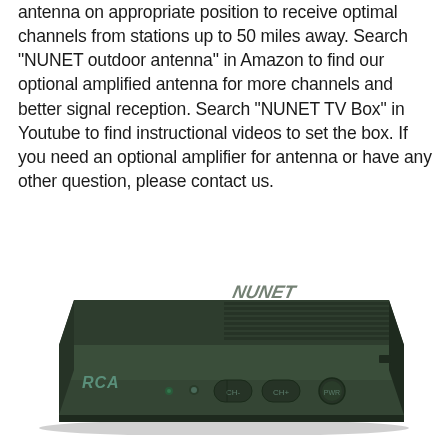antenna on appropriate position to receive optimal channels from stations up to 50 miles away. Search "NUNET outdoor antenna" in Amazon to find our optional amplified antenna for more channels and better signal reception. Search "NUNET TV Box" in Youtube to find instructional videos to set the box. If you need an optional amplifier for antenna or have any other question, please contact us.
[Figure (photo): Photo of a dark green/black RCA digital TV converter box (set-top box) shown in a perspective/angled view. The box has the RCA logo on the left front face and several buttons on the front panel.]